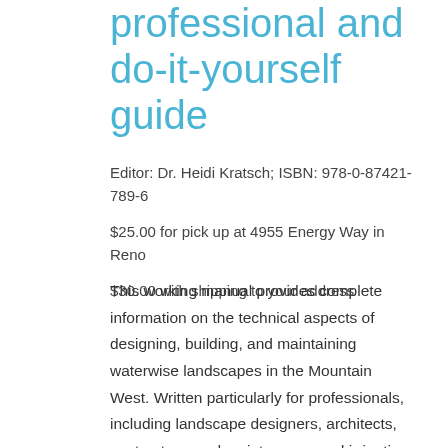professional and do-it-yourself guide
Editor: Dr. Heidi Kratsch; ISBN: 978-0-87421-789-6
$25.00 for pick up at 4955 Energy Way in Reno
$30.00 with shipping to your address
This working manual provides complete information on the technical aspects of designing, building, and maintaining waterwise landscapes in the Mountain West. Written particularly for professionals, including landscape designers, architects, contractors, and maintenance and irrigation specialists, it has an attractive, well-illustrated, user-friendly format that will make it useful as well to DIY homeowners and to educators, plant retailers, extension agents, and many